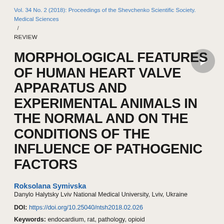Vol. 34 No. 2 (2018): Proceedings of the Shevchenko Scientific Society. Medical Sciences
/
REVIEW
MORPHOLOGICAL FEATURES OF HUMAN HEART VALVE APPARATUS AND EXPERIMENTAL ANIMALS IN THE NORMAL AND ON THE CONDITIONS OF THE INFLUENCE OF PATHOGENIC FACTORS
Roksolana Symivska
Danylo Halytsky Lviv National Medical University, Lviv, Ukraine
DOI: https://doi.org/10.25040/ntsh2018.02.026
Keywords: endocardium, rat, pathology, opioid